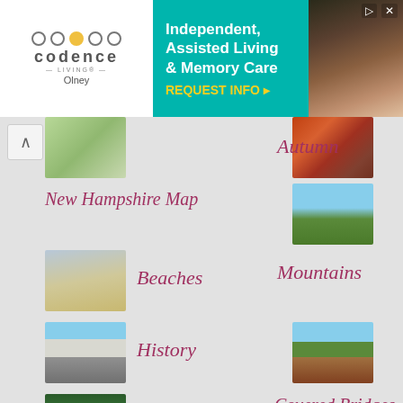[Figure (infographic): Codence Living Olney advertisement banner for Independent, Assisted Living and Memory Care with REQUEST INFO button]
Autumn
[Figure (photo): Autumn foliage thumbnail]
New Hampshire Map
[Figure (photo): New Hampshire map thumbnail]
[Figure (photo): Mountain scene thumbnail]
Beaches
[Figure (photo): Beach scene thumbnail]
Mountains
History
[Figure (photo): New Hampshire State Capitol building thumbnail]
[Figure (photo): Covered bridge thumbnail]
Covered Bridges
Camping
[Figure (photo): Camping scene with trees thumbnail]
[Figure (photo): Lake Winnipesaukee thumbnail]
[Figure (photo): Hot air balloons thumbnail]
Lake Winnipesaukee